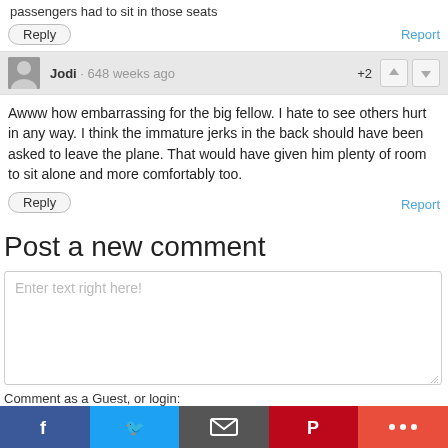passengers had to sit in those seats
Reply
Report
Jodi · 648 weeks ago   +2
Awww how embarrassing for the big fellow. I hate to see others hurt in any way. I think the immature jerks in the back should have been asked to leave the plane. That would have given him plenty of room to sit alone and more comfortably too.
Reply
Report
Post a new comment
Enter text right here!
Comment as a Guest, or login:
intensedebate   WordPress.com   twitter